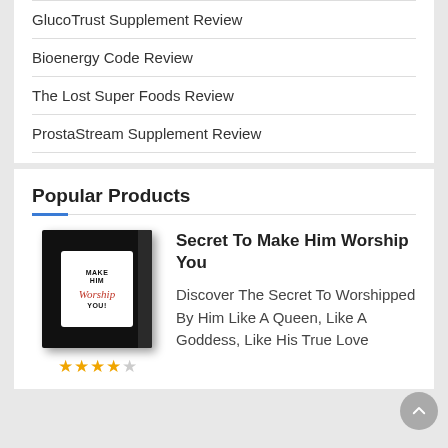GlucoTrust Supplement Review
Bioenergy Code Review
The Lost Super Foods Review
ProstaStream Supplement Review
Popular Products
[Figure (illustration): Black book/product box with white shield-shaped label reading MAKE HIM Worship YOU in bold and script text]
Secret To Make Him Worship You
Discover The Secret To Worshipped By Him Like A Queen, Like A Goddess, Like His True Love